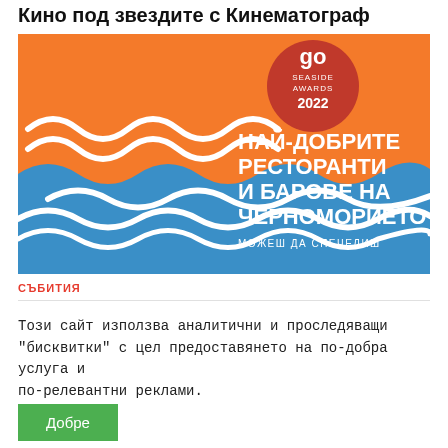Кино под звездите с Кинематограф
[Figure (illustration): GO Seaside Awards 2022 promotional banner with orange and blue wave background. Text reads: НАЙ-ДОБРИТЕ РЕСТОРАНТИ И БАРОВЕ НА ЧЕРНОМОРИЕТО. МОЖЕШ ДА СПЕЧЕЛИШ]
СЪБИТИЯ
Този сайт използва аналитични и проследяващи "бисквитки" с цел предоставянето на по-добра услуга и по-релевантни реклами.
Добре